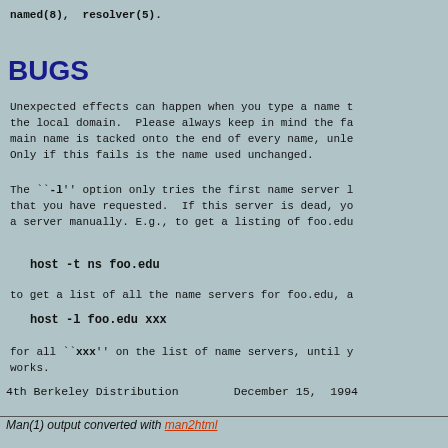named(8),  resolver(5).
BUGS
Unexpected effects can happen when you type a name that is in the local domain.  Please always keep in mind the fact that the main name is tacked onto the end of every name, unless... Only if this fails is the name used unchanged.
The ``-l'' option only tries the first name server listed for the domain that you have requested.  If this server is dead, you can specify a server manually. E.g., to get a listing of foo.edu
host -t ns foo.edu
to get a list of all the name servers for foo.edu, and then
host -l foo.edu xxx
for all ``xxx'' on the list of name servers, until you find one that works.
4th Berkeley Distribution        December 15,  1994
Man(1) output converted with man2html